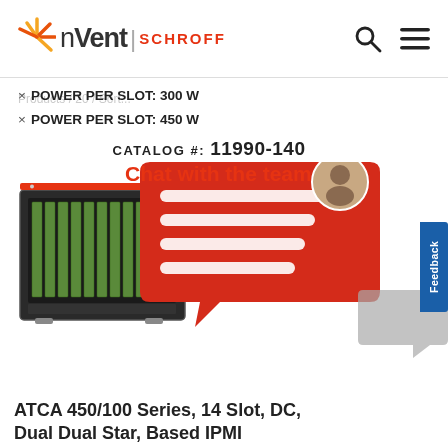nVent | SCHROFF
× POWER PER SLOT: 300 W
× POWER PER SLOT: 450 W
CATALOG #: 11990-140
[Figure (screenshot): Chat with the team overlay with red speech bubble containing white lines and a person avatar, overlaid on an ATCA chassis product image. A blue Feedback tab is visible on the right edge.]
ATCA 450/100 Series, 14 Slot, DC, Dual Dual Star, Based IPMI